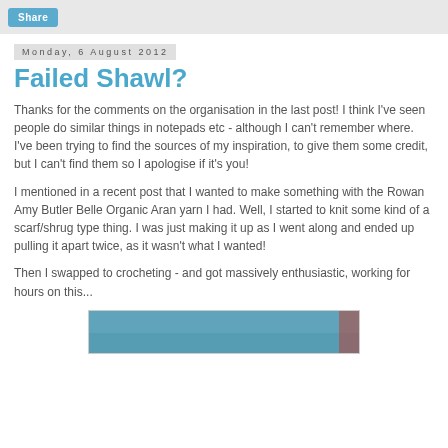Share
Monday, 6 August 2012
Failed Shawl?
Thanks for the comments on the organisation in the last post!  I think I've seen people do similar things in notepads etc - although I can't remember where.  I've been trying to find the sources of my inspiration, to give them some credit, but I can't find them so I apologise if it's you!
I mentioned in a recent post that I wanted to make something with the Rowan Amy Butler Belle Organic Aran yarn I had.  Well, I started to knit some kind of a scarf/shrug type thing.  I was just making it up as I went along and ended up pulling it apart twice, as it wasn't what I wanted!
Then I swapped to crocheting - and got massively enthusiastic, working for hours on this...
[Figure (photo): Photo of crocheted item, partially visible at bottom of page]